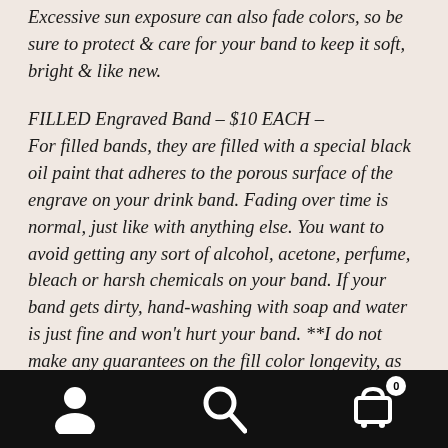Excessive sun exposure can also fade colors, so be sure to protect & care for your band to keep it soft, bright & like new.
FILLED Engraved Band – $10 EACH –
For filled bands, they are filled with a special black oil paint that adheres to the porous surface of the engrave on your drink band. Fading over time is normal, just like with anything else. You want to avoid getting any sort of alcohol, acetone, perfume, bleach or harsh chemicals on your band. If your band gets dirty, hand-washing with soap and water is just fine and won't hurt your band. **I do not make any guarantees on the fill color longevity, as care will greatly determine this. If you want to reapply, I will provide a link for the oil based paint pen I used, feel free to reach out to it. Other cleaning info if you'd like
[Figure (other): Bottom navigation bar with person/account icon, search icon, and shopping cart icon with badge showing 0]